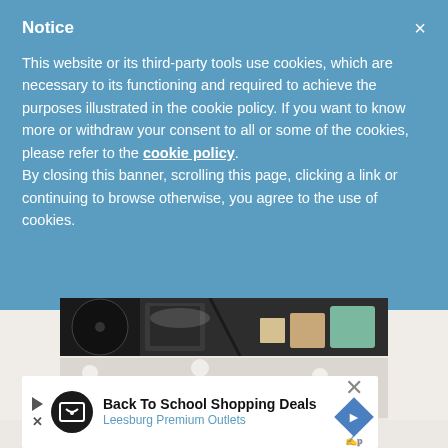Notice
This website or its third-party tools use cookies, which are necessary to its functioning and required to achieve the purposes illustrated in the cookie policy. If you want to know more or withdraw your consent to all or some of the cookies, please refer to the cookie policy. By closing this banner, scrolling this page, clicking a link or continuing to browse otherwise, you agree to the use of cookies.
[Figure (photo): Partial view of a dark background with objects, appears to be a vinyl record or dark circular object with other items]
[Figure (photo): Image with handwritten text 'a sweater,' with a seashell illustration on a light background]
Back To School Shopping Deals
Leesburg Premium Outlets